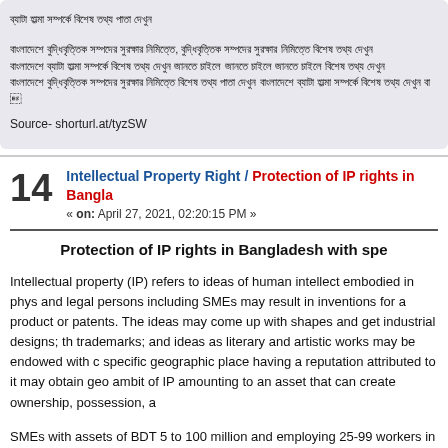Bengali title text (Bangla script)
Bengali body paragraph text (Bangla script)
Source- shorturl.at/tyzSW
14  Intellectual Property Right / Protection of IP rights in Bangladesh  « on: April 27, 2021, 02:20:15 PM »
Protection of IP rights in Bangladesh with spe
Intellectual property (IP) refers to ideas of human intellect embodied in phys and legal persons including SMEs may result in inventions for a product or patents. The ideas may come up with shapes and get industrial designs; th trademarks; and ideas as literary and artistic works may be endowed with c specific geographic place having a reputation attributed to it may obtain geo ambit of IP amounting to an asset that can create ownership, possession, a
SMEs with assets of BDT 5 to 100 million and employing 25-99 workers in t worth BDT 500,000 to 10 million and employing 10 to 25 people in the serv licensing contracts, turn them into an IP asset, and commercialise them thr outcome of an enterprise's huge brainwork, time and investment, enterprise